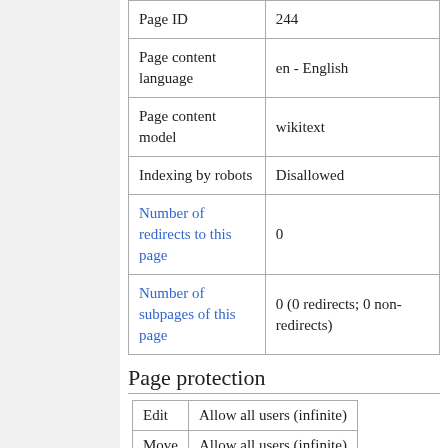| Page ID | 244 |
| Page content language | en - English |
| Page content model | wikitext |
| Indexing by robots | Disallowed |
| Number of redirects to this page | 0 |
| Number of subpages of this page | 0 (0 redirects; 0 non-redirects) |
Page protection
| Edit | Allow all users (infinite) |
| Move | Allow all users (infinite) |